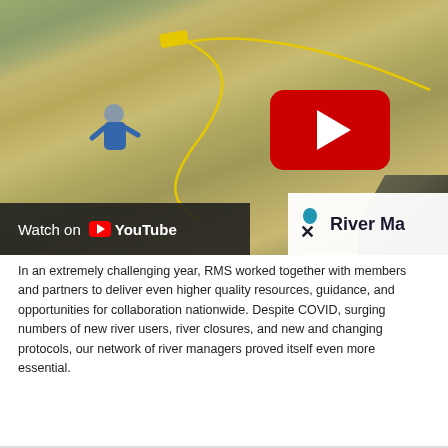[Figure (photo): Aerial/overhead photo of a person in a river/rapids holding a yellow device on a rope, with a YouTube play button overlay and 'Watch on YouTube' bar at bottom left, and River Management logo at bottom right.]
In an extremely challenging year, RMS worked together with members and partners to deliver even higher quality resources, guidance, and opportunities for collaboration nationwide. Despite COVID, surging numbers of new river users, river closures, and new and changing protocols, our network of river managers proved itself even more essential.
Read more...